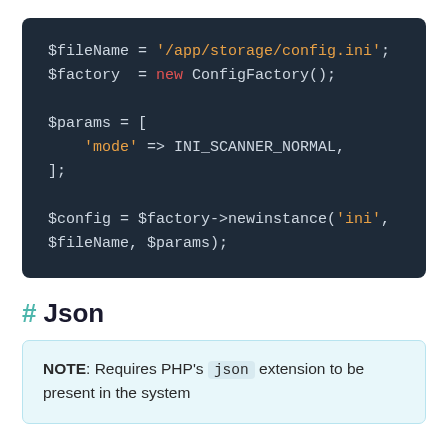[Figure (screenshot): Dark-themed PHP code block showing $fileName, $factory, $params array, and $config variable assignments]
# Json
NOTE: Requires PHP's json extension to be present in the system
JSON is a very popular format, especially when transporting data from your application to the front end or when sending